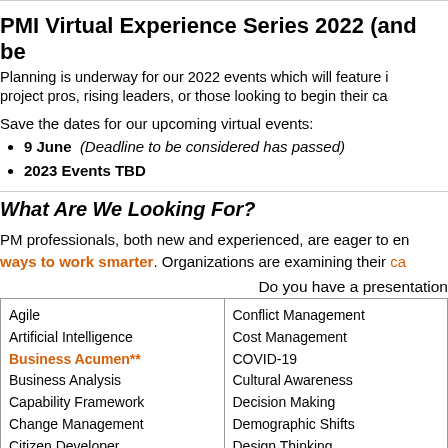PMI Virtual Experience Series 2022 (and beyond)
Planning is underway for our 2022 events which will feature information for project pros, rising leaders, or those looking to begin their career.
Save the dates for our upcoming virtual events:
9 June  (Deadline to be considered has passed)
2023 Events TBD
What Are We Looking For?
PM professionals, both new and experienced, are eager to embrace new ways to work smarter. Organizations are examining their capabilities...
Do you have a presentation
| Agile
Artificial Intelligence
Business Acumen**
Business Analysis
Capability Framework
Change Management
Citizen Developer
Civil, Civic & Equality Movements
Climate Crisis** | Conflict Management
Cost Management
COVID-19
Cultural Awareness
Decision Making
Demographic Shifts
Design Thinking
Digital Disruption
Digital Skills
Diversity, Equity & |